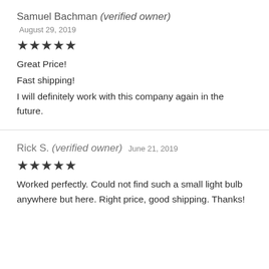Samuel Bachman (verified owner)
August 29, 2019
★★★★★
Great Price!
Fast shipping!
I will definitely work with this company again in the future.
Rick S. (verified owner)   June 21, 2019
★★★★★
Worked perfectly. Could not find such a small light bulb anywhere but here. Right price, good shipping. Thanks!